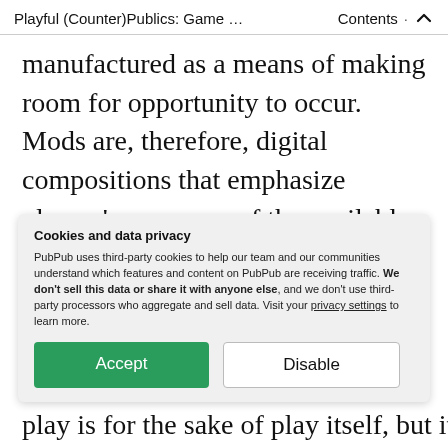Playful (Counter)Publics: Game … · Contents ∧
manufactured as a means of making room for opportunity to occur. Mods are, therefore, digital compositions that emphasize players' awareness of the available options that rest at their fingertips and can be used to create a specific kairotic movement that, in turn, stimulates more collaborative discussion
Cookies and data privacy
PubPub uses third-party cookies to help our team and our communities understand which features and content on PubPub are receiving traffic. We don't sell this data or share it with anyone else, and we don't use third-party processors who aggregate and sell data. Visit your privacy settings to learn more.
[Accept] [Disable]
play is for the sake of play itself, but it is